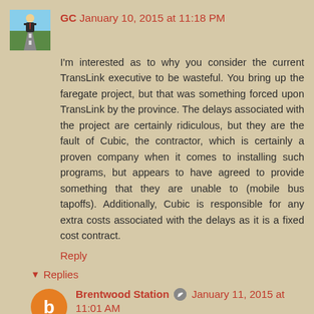GC  January 10, 2015 at 11:18 PM
I'm interested as to why you consider the current TransLink executive to be wasteful. You bring up the faregate project, but that was something forced upon TransLink by the province. The delays associated with the project are certainly ridiculous, but they are the fault of Cubic, the contractor, which is certainly a proven company when it comes to installing such programs, but appears to have agreed to provide something that they are unable to (mobile bus tapoffs). Additionally, Cubic is responsible for any extra costs associated with the delays as it is a fixed cost contract.
Reply
Replies
Brentwood Station  January 11, 2015 at 11:01 AM
When soliciting for bids on the Compass Turnstile Project, TransLink was responsible for understanding the factors regarding